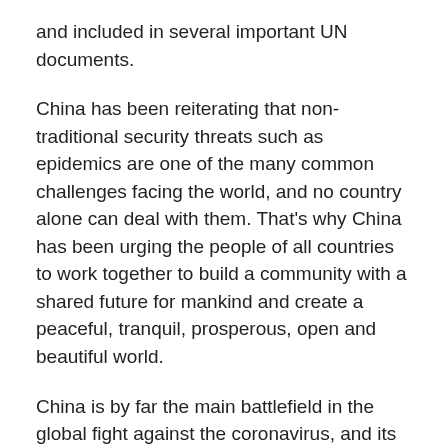and included in several important UN documents.
China has been reiterating that non-traditional security threats such as epidemics are one of the many common challenges facing the world, and no country alone can deal with them. That's why China has been urging the people of all countries to work together to build a community with a shared future for mankind and create a peaceful, tranquil, prosperous, open and beautiful world.
China is by far the main battlefield in the global fight against the coronavirus, and its strict and effective prevention and control measures have not only safeguarded the life and health of people in China, but also greatly contributed to global public health.
The international community has offered sincere and friendly assistance to China to fight the outbreak, with the leaders from more than 170 countries and heads of more than 40